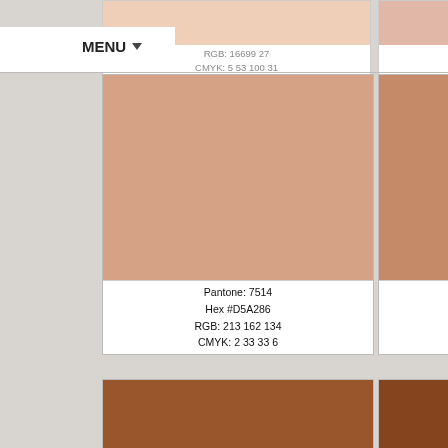[Figure (infographic): Pantone color swatch card for Pantone 7514, Hex #D5A286, RGB 213 162 134, CMYK 2 33 33 6]
[Figure (infographic): Pantone color swatch card for Pantone 7515, Hex #C58B68, RGB 197 139 104, CMYK 4 38 47 12]
[Figure (infographic): Pantone color swatch card for Pantone 7516, Hex #99552B, RGB 153 85 43, CMYK 9 70 92 36]
[Figure (infographic): Pantone color swatch card for Pantone 7517, Hex #85431E, RGB 133 67 30, CMYK 11 76 100 52]